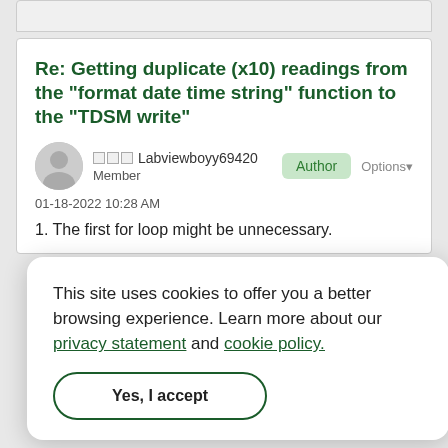Re: Getting duplicate (x10) readings from the "format date time string" function to the "TDSM write"
Labviewboyy69420
Member
Author
Options
01-18-2022 10:28 AM
1. The first for loop might be unnecessary.
This site uses cookies to offer you a better browsing experience. Learn more about our privacy statement and cookie policy.
Yes, I accept